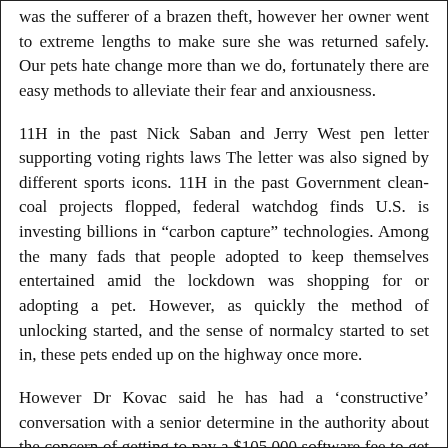was the sufferer of a brazen theft, however her owner went to extreme lengths to make sure she was returned safely. Our pets hate change more than we do, fortunately there are easy methods to alleviate their fear and anxiousness.
11H in the past Nick Saban and Jerry West pen letter supporting voting rights laws The letter was also signed by different sports icons. 11H in the past Government clean-coal projects flopped, federal watchdog finds U.S. is investing billions in “carbon capture” technologies. Among the many fads that people adopted to keep themselves entertained amid the lockdown was shopping for or adopting a pet. However, as quickly the method of unlocking started, and the sense of normalcy started to set in, these pets ended up on the highway once more.
However Dr Kovac said he has had a ‘constructive’ conversation with a senior determine in the authority about the concern of getting to pay a $105,000 software fee to get the medication registered. Australia’s